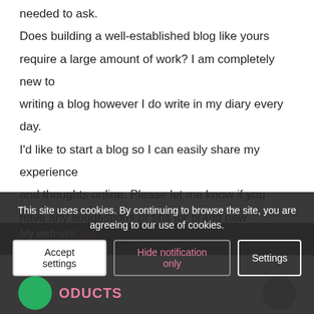needed to ask. Does building a well-established blog like yours require a large amount of work? I am completely new to writing a blog however I do write in my diary every day. I'd like to start a blog so I can easily share my experience and thoughts online. Please let me know if you have any suggestions or tips for brand new aspiring blog owners. Appreciate it!
My web-site: Slot
Reply
This site uses cookies. By continuing to browse the site, you are agreeing to our use of cookies.